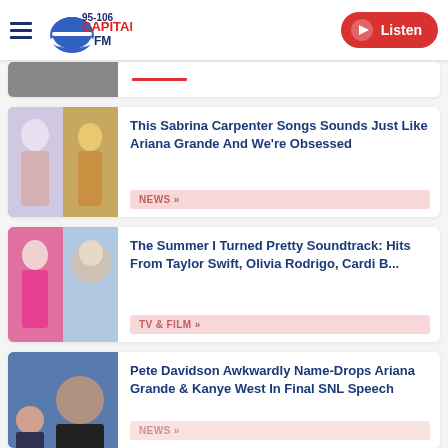95-106 Capital FM — Listen
[Figure (screenshot): Partial article card with thumbnail and red underline (cropped from top)]
This Sabrina Carpenter Songs Sounds Just Like Ariana Grande And We're Obsessed
NEWS »
[Figure (photo): Article thumbnail showing a woman in pink and Taylor Swift composite]
The Summer I Turned Pretty Soundtrack: Hits From Taylor Swift, Olivia Rodrigo, Cardi B...
TV & FILM »
[Figure (photo): Article thumbnail showing Pete Davidson and Ariana Grande]
Pete Davidson Awkwardly Name-Drops Ariana Grande & Kanye West In Final SNL Speech
NEWS »